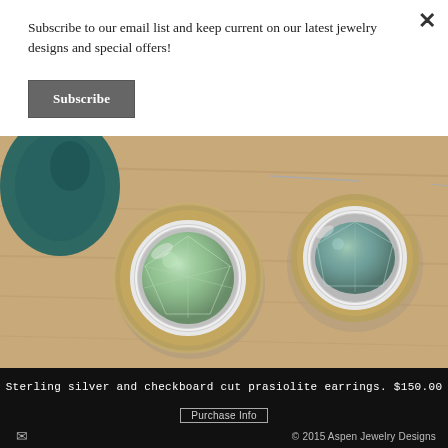Subscribe to our email list and keep current on our latest jewelry designs and special offers!
Subscribe
[Figure (photo): Two sterling silver earrings with checkboard cut prasiolite (green amethyst) stones in a textured bezel setting, photographed on a wooden surface with a dark teal stone in the background.]
Sterling silver and checkboard cut prasiolite earrings. $150.00
Purchase Info
© 2015 Aspen Jewelry Designs